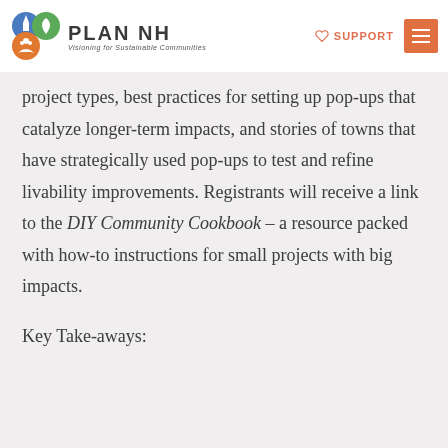PLAN NH — Visioning for Sustainable Communities | SUPPORT
project types, best practices for setting up pop-ups that catalyze longer-term impacts, and stories of towns that have strategically used pop-ups to test and refine livability improvements. Registrants will receive a link to the DIY Community Cookbook – a resource packed with how-to instructions for small projects with big impacts.
Key Take-aways: